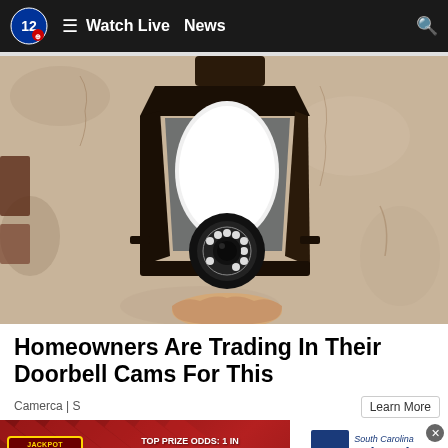Watch Live  News
[Figure (photo): Close-up photo of a smart security camera shaped like a light bulb, installed in a black outdoor lantern fixture mounted on a textured beige stucco wall. The camera has a circular lens array with LED lights at the bottom.]
Homeowners Are Trading In Their Doorbell Cams For This
Camerca | S
[Figure (advertisement): South Carolina Education Lottery advertisement banner with jackpot information. TOP PRIZE ODDS: 1 IN 720,000. OVERALL ODDS: 1 IN 3.96.]